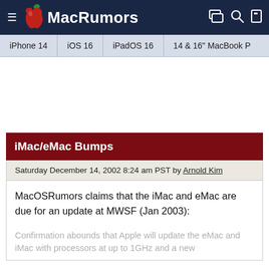MacRumors
iPhone 14 | iOS 16 | iPadOS 16 | 14 & 16" MacBook P
iMac/eMac Bumps
Saturday December 14, 2002 8:24 am PST by Arnold Kim
MacOSRumors claims that the iMac and eMac are due for an update at MWSF (Jan 2003):
Confirmation abounds that Apple will update the eMac and iMac with processors at up to 1GHz and a new